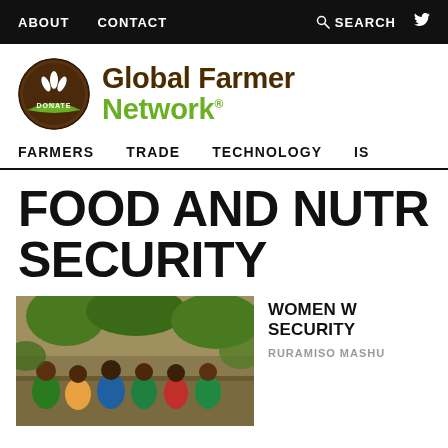ABOUT   CONTACT   SEARCH   Twitter
[Figure (logo): Global Farmer Network logo with circular brown and green emblem showing wheat/plant leaves and 'DONATE' text, alongside 'Global Farmer Network' wordmark in brown and green]
FARMERS   TRADE   TECHNOLOGY   IS...
FOOD AND NUTRITION SECURITY
[Figure (photo): Group of African women sitting together outdoors in a field, wearing colorful clothing including green]
WOMEN W... SECURITY
RURAMISO MASHU...